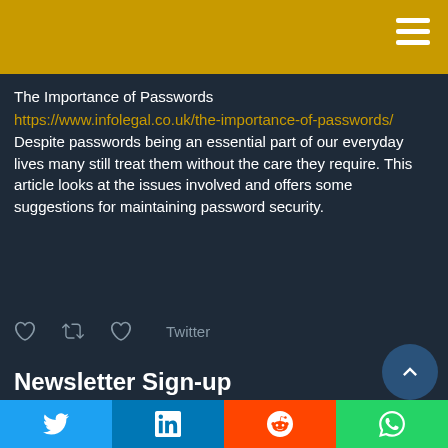The Importance of Passwords https://www.infolegal.co.uk/the-importance-of-passwords/ Despite passwords being an essential part of our everyday lives many still treat them without the care they require. This article looks at the issues involved and offers some suggestions for maintaining password security.
Twitter
Newsletter Sign-up
To request a copy of our monthly compliance newsletter please email us at enquiries@infolegal.co.uk